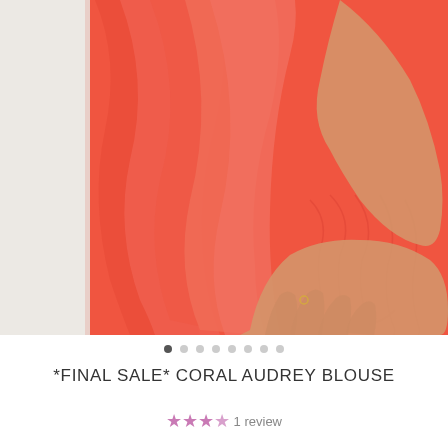[Figure (photo): Close-up photo of a person wearing a coral/salmon colored ruffled blouse and ruched skirt. The model's hand is resting on their hip. The top features cascading ruffles on the left side and a ruched fitted skirt. Background is light gray/white.]
*FINAL SALE* CORAL AUDREY BLOUSE
1 review